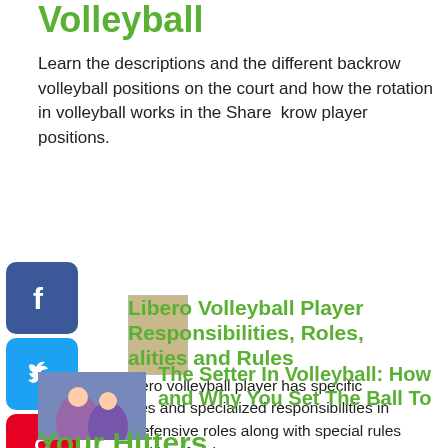Volleyball
Learn the descriptions and the different backrow volleyball positions on the court and how the rotation in volleyball works in the backrow player positions.
Share
[Figure (infographic): Social media sharing icons: Facebook, Twitter, Pinterest, Tumblr, Reddit, WhatsApp]
[Figure (photo): Thumbnail image for Libero Volleyball article]
Libero Volleyball Player Responsibilities, Roles, alities and Rules
ibero volleyball player has specific ities and specialized responsibilities in defensive roles along with special rules ited just for them.
[Figure (photo): Thumbnail image of volleyball players for The Setter In Volleyball article]
The Setter In Volleyball: How and Why You Set The Ball To Your Hitters